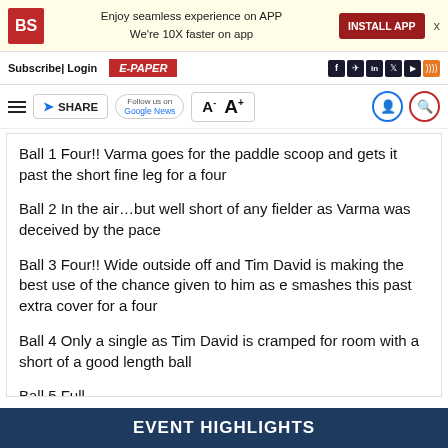BS | Enjoy seamless experience on APP We're 10X faster on app | INSTALL APP
Subscribe | Login | E-PAPER
SHARE | Follow us on Google News | A- A+
Ball 1 Four!! Varma goes for the paddle scoop and gets it past the short fine leg for a four
Ball 2 In the air...but well short of any fielder as Varma was deceived by the pace
Ball 3 Four!! Wide outside off and Tim David is making the best use of the chance given to him as e smashes this past extra cover for a four
Ball 4 Only a single as Tim David is cramped for room with a short of a good length ball
Ball 5 Full...
EVENT HIGHLIGHTS